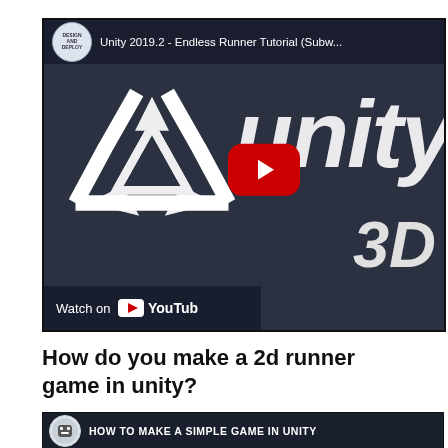[Figure (screenshot): YouTube video thumbnail for 'Unity 2019.2 - Endless Runner Tutorial (Subw...)' showing the Unity logo on a dark background with a red YouTube play button, and a 'Watch on YouTube' bar at the bottom. Channel: Design and Deploy.]
How do you make a 2d runner game in unity?
[Figure (screenshot): Partial YouTube video thumbnail showing 'HOW TO MAKE A SIMPLE GAME IN UNITY' with a cartoon character icon on dark background.]